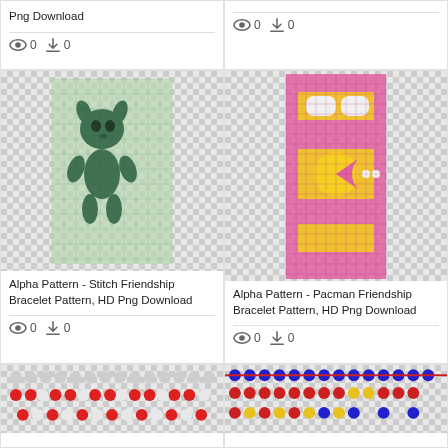Png Download
0  0
0  0
[Figure (illustration): Alpha Pattern - Stitch Friendship Bracelet Pattern cross-stitch grid showing Stitch character in dark green on light green grid]
Alpha Pattern - Stitch Friendship Bracelet Pattern, HD Png Download
0  0
[Figure (illustration): Alpha Pattern - Pacman Friendship Bracelet Pattern colorful pixel grid in pink, yellow, orange showing Pacman characters]
Alpha Pattern - Pacman Friendship Bracelet Pattern, HD Png Download
0  0
[Figure (illustration): Partial view of a bracelet pattern with red and white beads]
[Figure (illustration): Partial view of a bracelet pattern with blue, red and yellow beads]